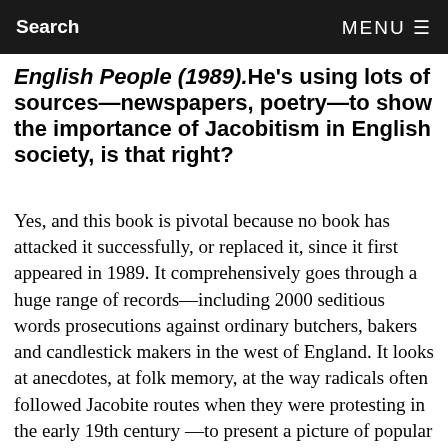Search    MENU
English People (1989). He's using lots of sources—newspapers, poetry—to show the importance of Jacobitism in English society, is that right?
Yes, and this book is pivotal because no book has attacked it successfully, or replaced it, since it first appeared in 1989. It comprehensively goes through a huge range of records—including 2000 seditious words prosecutions against ordinary butchers, bakers and candlestick makers in the west of England. It looks at anecdotes, at folk memory, at the way radicals often followed Jacobite routes when they were protesting in the early 19th century —to present a picture of popular Jacobitism.